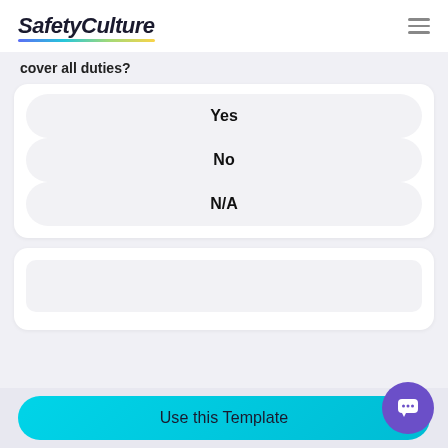SafetyCulture
cover all duties?
Yes
No
N/A
Use this Template